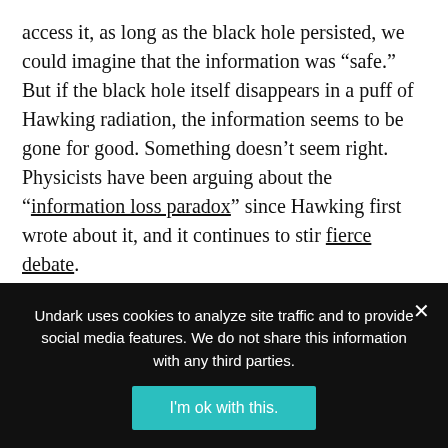access it, as long as the black hole persisted, we could imagine that the information was “safe.” But if the black hole itself disappears in a puff of Hawking radiation, the information seems to be gone for good. Something doesn’t seem right. Physicists have been arguing about the “information loss paradox” since Hawking first wrote about it, and it continues to stir fierce debate.
That was Hawking the physicist, but the Hawking who connected with a worldwide audience — the one who appeared on “The Simpsons,” “Star Trek: The Next Generation,” “The Big Bang Theory,” and beyond —
Undark uses cookies to analyze site traffic and to provide social media features. We do not share this information with any third parties.